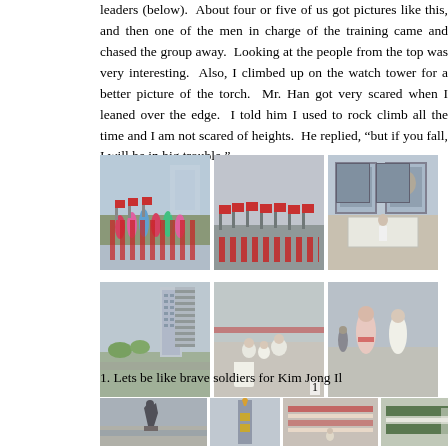leaders (below).  About four or five of us got pictures like this, and then one of the men in charge of the training came and chased the group away.  Looking at the people from the top was very interesting.  Also, I climbed up on the watch tower for a better picture of the torch.  Mr. Han got very scared when I leaned over the edge.  I told him I used to rock climb all the time and I am not scared of heights.  He replied, “but if you fall, I will be in big trouble.”
[Figure (photo): Dancers in colorful traditional costumes with red flags on a plaza]
[Figure (photo): Red flags in a large open square, distant view]
[Figure (photo): Two large portrait paintings of North Korean leaders on display]
[Figure (photo): Tall multi-story building in Pyongyang]
[Figure (photo): People sitting on large open plaza, viewed from behind, labeled 1]
[Figure (photo): Two children in traditional dress viewed from behind]
1. Lets be like brave soldiers for Kim Jong Il
[Figure (photo): Statue of soldiers on a riverbank]
[Figure (photo): Close-up of a tall torch or monument tower with gold emblems]
[Figure (photo): Mosaic or pattern display with red and white elements]
[Figure (photo): Large outdoor mosaic or card display in green and white]